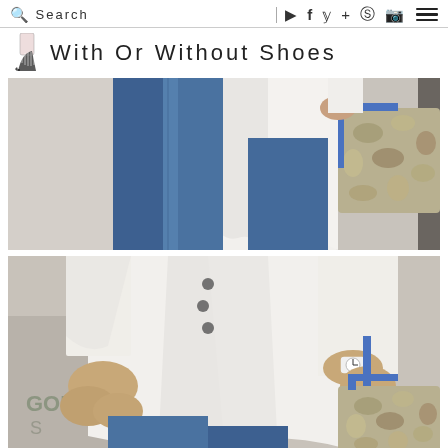Search | social icons
With Or Without Shoes
[Figure (photo): Close-up of person wearing blue skinny jeans and white top, holding a snake-print handbag with blue straps, outdoor street background with graffiti]
[Figure (photo): Close-up of person wearing white button-up blouse with dark buttons and blue jeans, carrying a snake-print bag with blue handle, wearing a round watch, outdoor background]